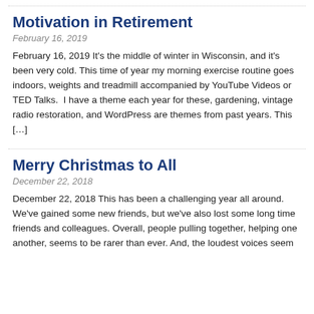Motivation in Retirement
February 16, 2019
February 16, 2019 It's the middle of winter in Wisconsin, and it's been very cold. This time of year my morning exercise routine goes indoors, weights and treadmill accompanied by YouTube Videos or TED Talks.  I have a theme each year for these, gardening, vintage radio restoration, and WordPress are themes from past years. This [...]
Merry Christmas to All
December 22, 2018
December 22, 2018 This has been a challenging year all around. We've gained some new friends, but we've also lost some long time friends and colleagues. Overall, people pulling together, helping one another, seems to be rarer than ever. And, the loudest voices seem